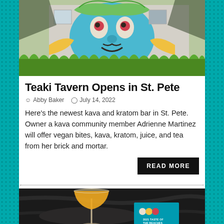[Figure (photo): Exterior of building with colorful mural depicting a large face/mask with teal and green colors, grass in foreground]
Teaki Tavern Opens in St. Pete
Abby Baker   July 14, 2022
Here's the newest kava and kratom bar in St. Pete. Owner a kava community member Adrienne Martinez will offer vegan bites, kava, kratom, juice, and tea from her brick and mortar.
READ MORE
[Figure (photo): Yellow cocktail in a wine glass on dark marble surface with a teal event card reading '2021 Taste of the Beaches']